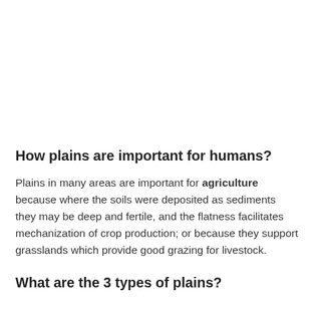How plains are important for humans?
Plains in many areas are important for agriculture because where the soils were deposited as sediments they may be deep and fertile, and the flatness facilitates mechanization of crop production; or because they support grasslands which provide good grazing for livestock.
What are the 3 types of plains?